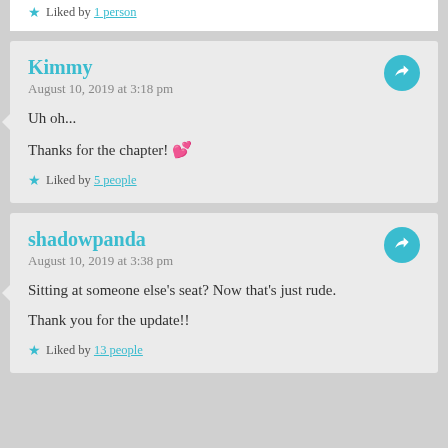Liked by 1 person
Kimmy
August 10, 2019 at 3:18 pm
Uh oh...

Thanks for the chapter! 💕
Liked by 5 people
shadowpanda
August 10, 2019 at 3:38 pm
Sitting at someone else's seat? Now that's just rude.

Thank you for the update!!
Liked by 13 people